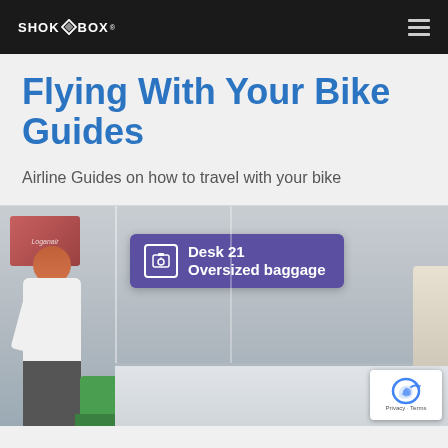SHOK BOX
Flying With Your Bike Guides
Airline Guides on how to travel with your bike
[Figure (photo): Airport oversized baggage desk with a sign reading 'Desk 21 Oversized baggage' in purple/blue. A woman with red/auburn hair wearing a white top is standing at the desk. Green luggage cart visible. Loganair branding on a screen in background. reCAPTCHA badge visible in bottom right corner with 'Privacy - Terms' text.]